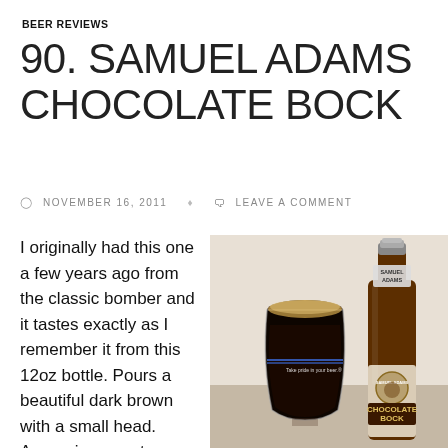BEER REVIEWS
90. SAMUEL ADAMS CHOCOLATE BOCK
NOVEMBER 16, 2011   LEAVE A COMMENT
[Figure (photo): A glass of dark brown Samuel Adams Chocolate Bock beer with a small head, next to a brown Samuel Adams Chocolate Bock bottle with label visible]
I originally had this one a few years ago from the classic bomber and it tastes exactly as I remember it from this 12oz bottle. Pours a beautiful dark brown with a small head. Aroma is a great chocolate smell with plenty of sweetness. Taste is not exactly